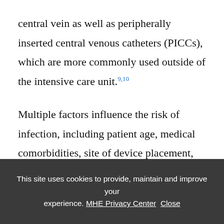central vein as well as peripherally inserted central venous catheters (PICCs), which are more commonly used outside of the intensive care unit.9,10
Multiple factors influence the risk of infection, including patient age, medical comorbidities, site of device placement, types of infusate being administered, frequency of times the device is accessed, duration the CVC is in place, and the
This site uses cookies to provide, maintain and improve your experience. MHE Privacy Center  Close